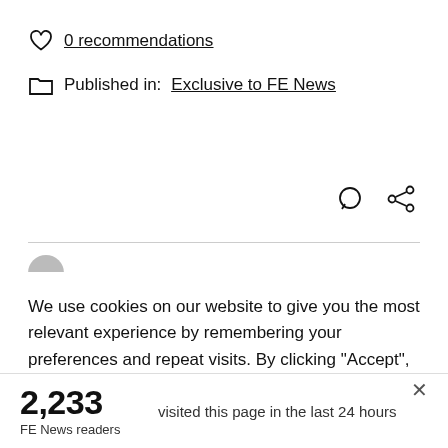0 recommendations
Published in: Exclusive to FE News
We use cookies on our website to give you the most relevant experience by remembering your preferences and repeat visits. By clicking “Accept”, you consent to the use of ALL the cookies. However you may visit Cookie
2,233 FE News readers visited this page in the last 24 hours